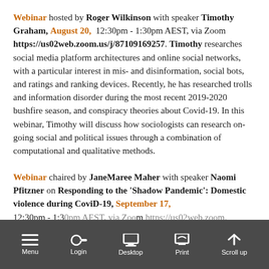Webinar hosted by Roger Wilkinson with speaker Timothy Graham, August 20, 12:30pm - 1:30pm AEST, via Zoom https://us02web.zoom.us/j/87109169257. Timothy researches social media platform architectures and online social networks, with a particular interest in mis- and disinformation, social bots, and ratings and ranking devices. Recently, he has researched trolls and information disorder during the most recent 2019-2020 bushfire season, and conspiracy theories about Covid-19. In this webinar, Timothy will discuss how sociologists can research on-going social and political issues through a combination of computational and qualitative methods.
Webinar chaired by JaneMaree Maher with speaker Naomi Pfitzner on Responding to the 'Shadow Pandemic': Domestic violence during CoviD-19, September 17, 12:30pm - 1:30pm AEST, via Zoom https://us02web.zoom.us/j/87109169...